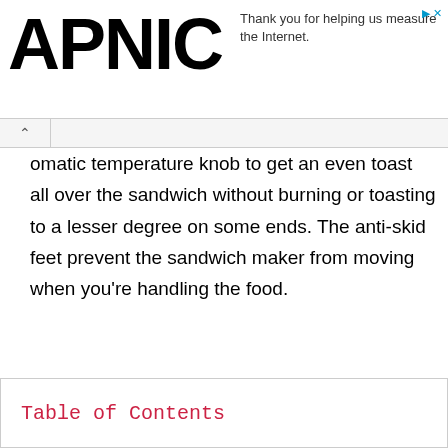APNIC
Thank you for helping us measure the Internet.
omatic temperature knob to get an even toast all over the sandwich without burning or toasting to a lesser degree on some ends. The anti-skid feet prevent the sandwich maker from moving when you're handling the food.
Table of Contents